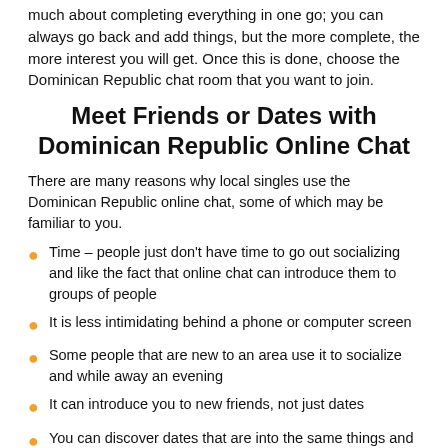much about completing everything in one go; you can always go back and add things, but the more complete, the more interest you will get. Once this is done, choose the Dominican Republic chat room that you want to join.
Meet Friends or Dates with Dominican Republic Online Chat
There are many reasons why local singles use the Dominican Republic online chat, some of which may be familiar to you.
Time – people just don't have time to go out socializing and like the fact that online chat can introduce them to groups of people
It is less intimidating behind a phone or computer screen
Some people that are new to an area use it to socialize and while away an evening
It can introduce you to new friends, not just dates
You can discover dates that are into the same things and enjoy chatting online